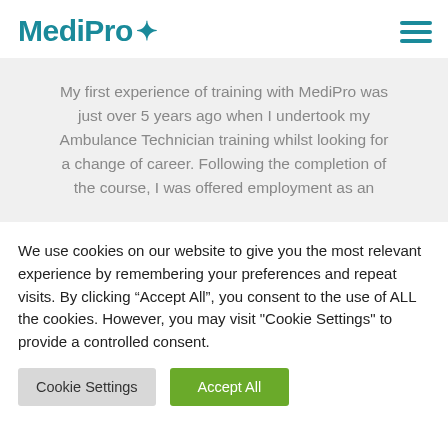MediPro
My first experience of training with MediPro was just over 5 years ago when I undertook my Ambulance Technician training whilst looking for a change of career. Following the completion of the course, I was offered employment as an
We use cookies on our website to give you the most relevant experience by remembering your preferences and repeat visits. By clicking “Accept All”, you consent to the use of ALL the cookies. However, you may visit "Cookie Settings" to provide a controlled consent.